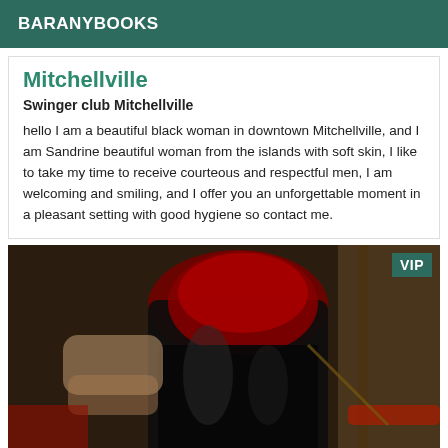BARANYBOOKS
Mitchellville
Swinger club Mitchellville
hello I am a beautiful black woman in downtown Mitchellville, and I am Sandrine beautiful woman from the islands with soft skin, I like to take my time to receive courteous and respectful men, I am welcoming and smiling, and I offer you an unforgettable moment in a pleasant setting with good hygiene so contact me.
[Figure (photo): Photo of a person in black latex/fetish outfit with red accents, VIP badge in top right corner]